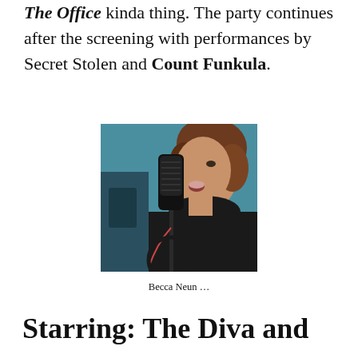The Office kinda thing. The party continues after the screening with performances by Secret Stolen and Count Funkula.
[Figure (photo): A woman with curly hair singing or speaking into a large studio microphone, wearing a black turtleneck, photographed from a low angle against a teal/blue background.]
Becca Neun …
Starring: The Diva and